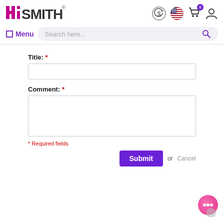[Figure (logo): HiSmith brand logo in magenta/pink color with registered trademark symbol]
[Figure (infographic): Header icons: dollar refresh icon, US flag circle, cart with badge 0, user account icon]
Menu
Search here...
Title: *
Comment: *
* Required fields
Submit or Cancel